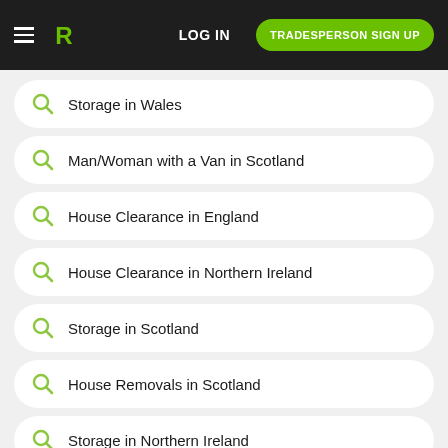LOG IN | TRADESPERSON SIGN UP
Storage in Wales
Man/Woman with a Van in Scotland
House Clearance in England
House Clearance in Northern Ireland
Storage in Scotland
House Removals in Scotland
Storage in Northern Ireland